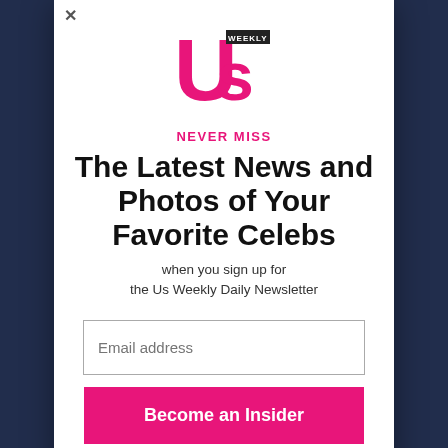[Figure (logo): Us Weekly magazine logo in hot pink]
NEVER MISS
The Latest News and Photos of Your Favorite Celebs
when you sign up for the Us Weekly Daily Newsletter
Email address
Become an Insider